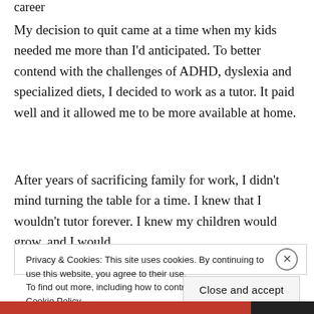career
My decision to quit came at a time when my kids needed me more than I'd anticipated. To better contend with the challenges of ADHD, dyslexia and specialized diets, I decided to work as a tutor. It paid well and it allowed me to be more available at home.
After years of sacrificing family for work, I didn't mind turning the table for a time. I knew that I wouldn't tutor forever. I knew my children would grow, and I would
Privacy & Cookies: This site uses cookies. By continuing to use this website, you agree to their use.
To find out more, including how to control cookies, see here: Cookie Policy
Close and accept